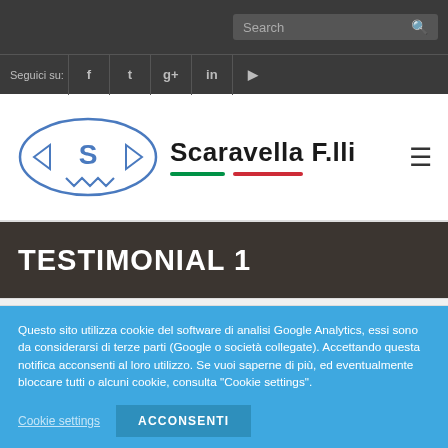Search | Seguici su: [social icons]
[Figure (logo): Scaravella F.lli logo with stylized S emblem and Italian flag colored underlines]
TESTIMONIAL 1
Questo sito utilizza cookie del software di analisi Google Analytics, essi sono da considerarsi di terze parti (Google o società collegate). Accettando questa notifica acconsenti al loro utilizzo. Se vuoi saperne di più, ed eventualmente bloccare tutti o alcuni cookie, consulta "Cookie settings".
Cookie settings | ACCONSENTI